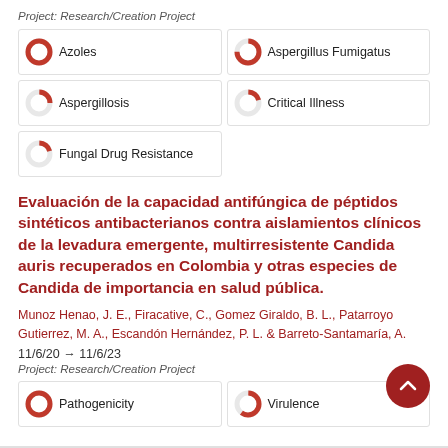Project: Research/Creation Project
[Figure (infographic): Five keyword tag boxes with donut/pie percentage indicators: Azoles (100%), Aspergillus Fumigatus (~75%), Aspergillosis (~25%), Critical Illness (~20%), Fungal Drug Resistance (~20%)]
Evaluación de la capacidad antifúngica de péptidos sintéticos antibacterianos contra aislamientos clínicos de la levadura emergente, multirresistente Candida auris recuperados en Colombia y otras especies de Candida de importancia en salud pública.
Munoz Henao, J. E., Firacative, C., Gomez Giraldo, B. L., Patarroyo Gutierrez, M. A., Escandón Hernández, P. L. & Barreto-Santamaría, A.
11/6/20 → 11/6/23
Project: Research/Creation Project
[Figure (infographic): Two keyword tag boxes with donut/pie percentage indicators: Pathogenicity (100%), Virulence (~60%)]